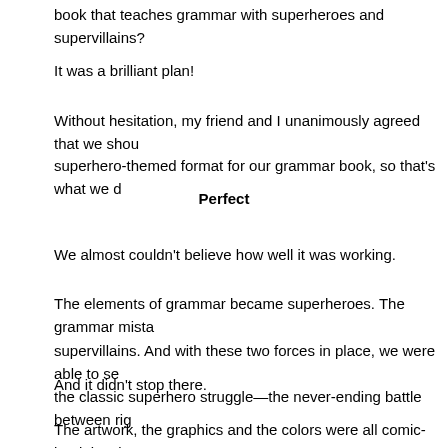book that teaches grammar with superheroes and supervillains?
It was a brilliant plan!
Without hesitation, my friend and I unanimously agreed that we should use the superhero-themed format for our grammar book, so that's what we did.
Perfect
We almost couldn't believe how well it was working.
The elements of grammar became superheroes. The grammar mistakes became supervillains. And with these two forces in place, we were able to set the stage for the classic superhero struggle—the never-ending battle between right and wrong.
And it didn't stop there.
The artwork, the graphics and the colors were all comic-book inspired. Every explanation and example-sentence we used was related to superheroes and their superpowers. Everything for our grammar book revolved around the comic-book genre—everything.
It was perfect.